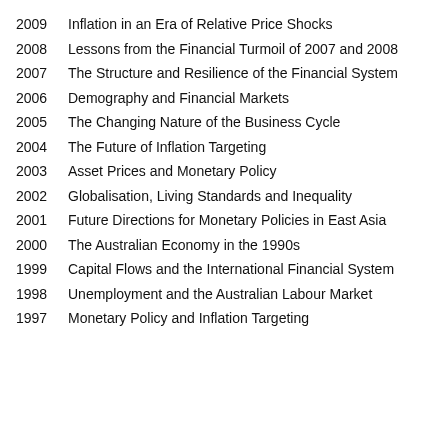2009  Inflation in an Era of Relative Price Shocks
2008  Lessons from the Financial Turmoil of 2007 and 2008
2007  The Structure and Resilience of the Financial System
2006  Demography and Financial Markets
2005  The Changing Nature of the Business Cycle
2004  The Future of Inflation Targeting
2003  Asset Prices and Monetary Policy
2002  Globalisation, Living Standards and Inequality
2001  Future Directions for Monetary Policies in East Asia
2000  The Australian Economy in the 1990s
1999  Capital Flows and the International Financial System
1998  Unemployment and the Australian Labour Market
1997  Monetary Policy and Inflation Targeting